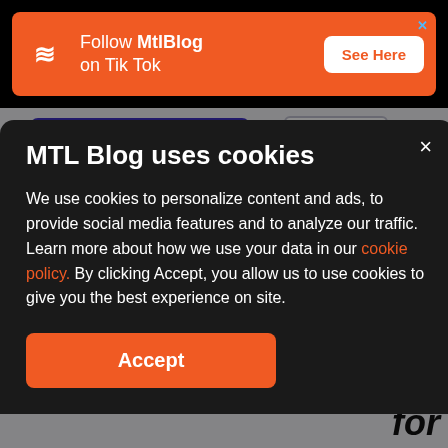[Figure (screenshot): MtlBlog orange ad banner with logo, 'Follow MtlBlog on Tik Tok' text and 'See Here' button]
[Figure (screenshot): Background page content: purple 'Get Started' button, phone illustration, '0 comments' orange bubble, partial article text]
MTL Blog uses cookies
We use cookies to personalize content and ads, to provide social media features and to analyze our traffic. Learn more about how we use your data in our cookie policy. By clicking Accept, you allow us to use cookies to give you the best experience on site.
Accept